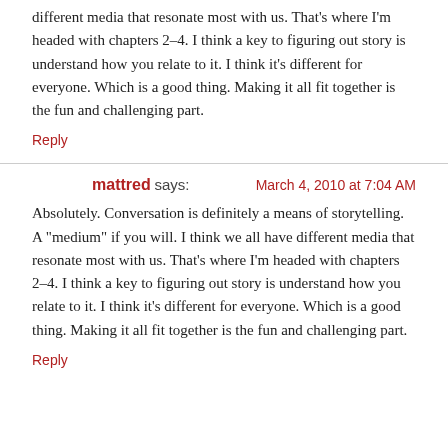different media that resonate most with us. That's where I'm headed with chapters 2–4. I think a key to figuring out story is understand how you relate to it. I think it's different for everyone. Which is a good thing. Making it all fit together is the fun and challenging part.
Reply
mattred says: March 4, 2010 at 7:04 AM
Absolutely. Conversation is definitely a means of storytelling. A "medium" if you will. I think we all have different media that resonate most with us. That's where I'm headed with chapters 2–4. I think a key to figuring out story is understand how you relate to it. I think it's different for everyone. Which is a good thing. Making it all fit together is the fun and challenging part.
Reply